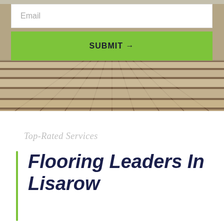[Figure (photo): Wooden deck/flooring boards photographed from above at a perspective angle, showing parallel light-colored wood planks with dark gaps between them]
Email
SUBMIT →
Top-Rated Services
Flooring Leaders In Lisarow